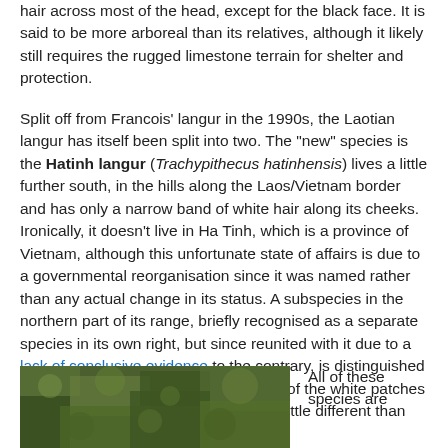hair across most of the head, except for the black face. It is said to be more arboreal than its relatives, although it likely still requires the rugged limestone terrain for shelter and protection.
Split off from Francois' langur in the 1990s, the Laotian langur has itself been split into two. The "new" species is the Hatinh langur (Trachypithecus hatinhensis) lives a little further south, in the hills along the Laos/Vietnam border and has only a narrow band of white hair along its cheeks. Ironically, it doesn't live in Ha Tinh, which is a province of Vietnam, although this unfortunate state of affairs is due to a governmental reorganisation since it was named rather than any actual change in its status. A subspecies in the northern part of its range, briefly recognised as a separate species in its own right, but since reunited with it due to a lack of conclusive evidence to the contrary, is distinguished by being entirely black, without a trace of the white patches normally seen - this may, however, be little different than the colour variation in black panthers.
[Figure (photo): Photograph showing dense green foliage or vegetation in a natural setting]
All of these species are